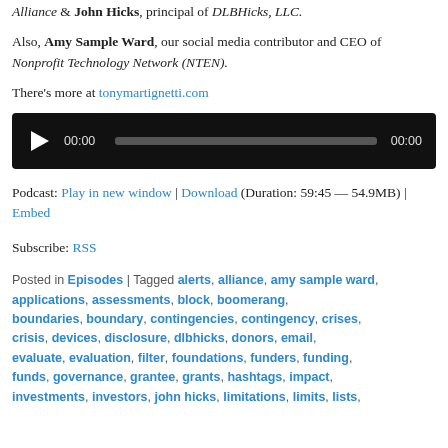Alliance & John Hicks, principal of DLBHicks, LLC.
Also, Amy Sample Ward, our social media contributor and CEO of Nonprofit Technology Network (NTEN).
There's more at tonymartignetti.com
[Figure (other): Audio player widget with play button, 00:00 timestamp, progress bar, and 00:00 end time on black background]
Podcast: Play in new window | Download (Duration: 59:45 — 54.9MB) | Embed
Subscribe: RSS
Posted in Episodes | Tagged alerts, alliance, amy sample ward, applications, assessments, block, boomerang, boundaries, boundary, contingencies, contingency, crises, crisis, devices, disclosure, dlbhicks, donors, email, evaluate, evaluation, filter, foundations, funders, funding, funds, governance, grantee, grants, hashtags, impact, investments, investors, john hicks, limitations, limits, lists,